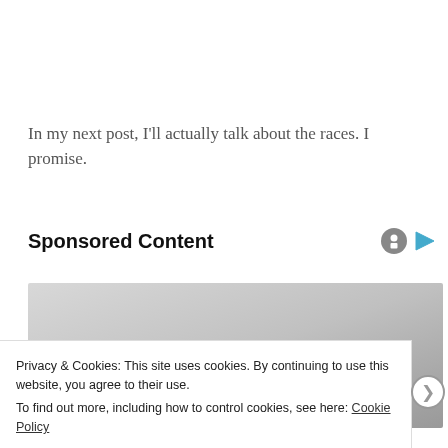In my next post, I'll actually talk about the races. I promise.
Sponsored Content
[Figure (photo): Advertisement banner showing eyeglasses on a light grey gradient background]
Privacy & Cookies: This site uses cookies. By continuing to use this website, you agree to their use.
To find out more, including how to control cookies, see here: Cookie Policy
Close and accept